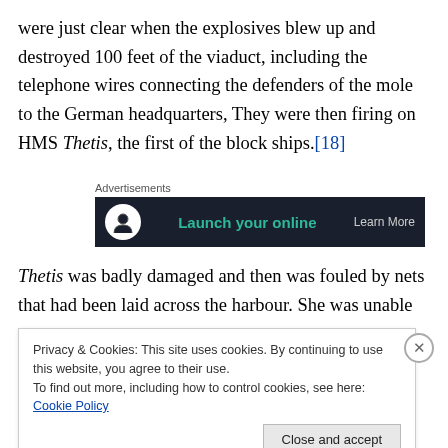were just clear when the explosives blew up and destroyed 100 feet of the viaduct, including the telephone wires connecting the defenders of the mole to the German headquarters, They were then firing on HMS Thetis, the first of the block ships.[18]
[Figure (other): Advertisement banner with dark background showing 'Launch your online' text in teal and 'Learn More' text on right, with circular icon on left. Labeled 'Advertisements' above.]
Thetis was badly damaged and then was fouled by nets that had been laid across the harbour. She was unable to
Privacy & Cookies: This site uses cookies. By continuing to use this website, you agree to their use.
To find out more, including how to control cookies, see here: Cookie Policy